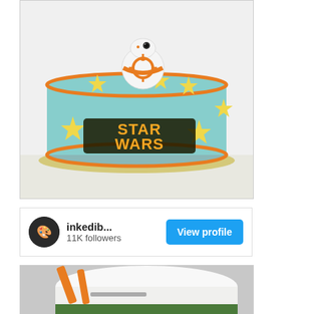[Figure (photo): A Star Wars themed birthday cake decorated with light blue fondant, orange trim, yellow stars, and a BB-8 droid figurine on top. The cake reads 'STAR WARS' in orange and black lettering on the side.]
[Figure (screenshot): Instagram profile card for 'inkedib...' with 11K followers and a 'View profile' blue button.]
inkedib...
11K followers
[Figure (photo): Partial view of a cake being decorated, showing orange tools/spatulas smoothing white fondant over a cake with green design elements visible at the bottom.]